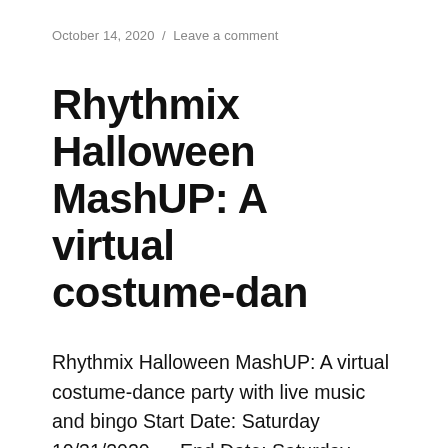October 14, 2020 / Leave a comment
Rhythmix Halloween MashUP: A virtual costume-dan
Rhythmix Halloween MashUP: A virtual costume-dance party with live music and bingo Start Date: Saturday 10/31/2020 — End Date: Saturday 10/31/2020 Admission:$25 Are you howlin' for a good time on Halloween? Ready to dress up, let loose and win prizes? Then join Mr. Entertainment and the Yay Girls for an unforgettable evening of music, dance and